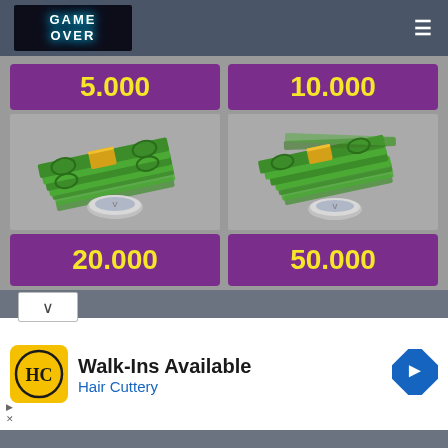GAME OVER
[Figure (illustration): Bundle of green money bills with gold band and silver coin, representing 5,000 in-game currency]
[Figure (illustration): Bundle of green money bills with gold band and silver coin, representing 10,000 in-game currency]
5.000
10.000
20.000
50.000
Walk-Ins Available
Hair Cuttery